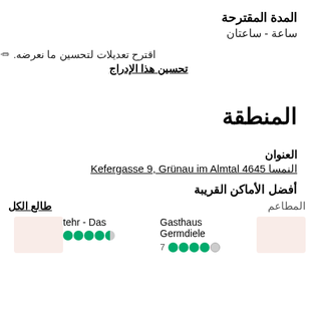المدة المقترحة
ساعة - ساعتان
✏ اقترح تعديلات لتحسين ما نعرضه.
تحسين هذا الإدراج
المنطقة
العنوان
النمسا Kefergasse 9, Grünau im Almtal 4645
أفضل الأماكن القريبة
المطاعم    طالع الكل
tehr - Das   Gasthaus Germdiele